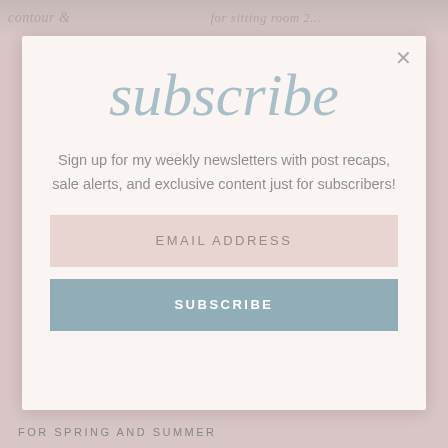[Figure (screenshot): Background image of a lifestyle/beauty blog with faded pink tones and blog post thumbnails visible behind the modal]
subscribe
Sign up for my weekly newsletters with post recaps, sale alerts, and exclusive content just for subscribers!
EMAIL ADDRESS
SUBSCRIBE
FOR SPRING AND SUMMER